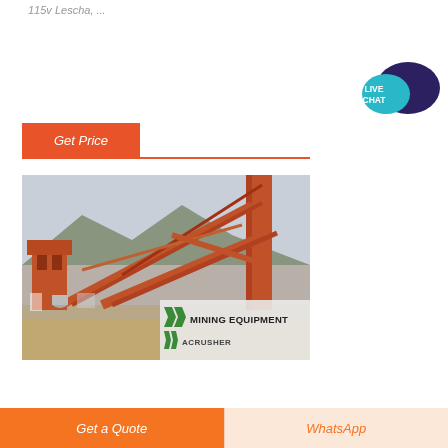115v Lescha, ...
[Figure (other): Button: Get Price on orange background]
[Figure (photo): Large industrial mining equipment and conveyor belt structure at a quarry or mine site, with mountains in the background. Overlay watermark reads MINING EQUIPMENT ACRUSHER with green chevron logos.]
[Figure (other): Live Chat speech bubble icon in teal/dark blue]
Get a Quote
WhatsApp